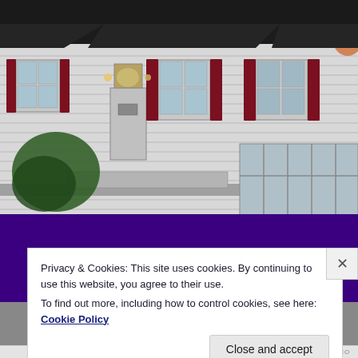[Figure (photo): Photograph of a white colonial-style house with dark red shutters, front porch, and trees, partially obscured by a large dark purple overlay band across the lower portion of the image.]
Privacy & Cookies: This site uses cookies. By continuing to use this website, you agree to their use.
To find out more, including how to control cookies, see here: Cookie Policy
Close and accept
HOMEDITING.CO